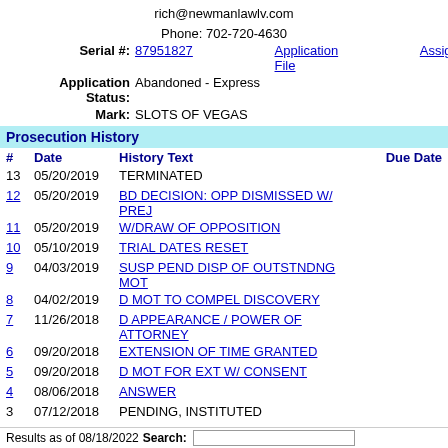rich@newmanlawlv.com
Phone: 702-720-4630
| # | Date | History Text | Due Date |
| --- | --- | --- | --- |
| 13 | 05/20/2019 | TERMINATED |  |
| 12 | 05/20/2019 | BD DECISION: OPP DISMISSED W/ PREJ |  |
| 11 | 05/20/2019 | W/DRAW OF OPPOSITION |  |
| 10 | 05/10/2019 | TRIAL DATES RESET |  |
| 9 | 04/03/2019 | SUSP PEND DISP OF OUTSTNDNG MOT |  |
| 8 | 04/02/2019 | D MOT TO COMPEL DISCOVERY |  |
| 7 | 11/26/2018 | D APPEARANCE / POWER OF ATTORNEY |  |
| 6 | 09/20/2018 | EXTENSION OF TIME GRANTED |  |
| 5 | 09/20/2018 | D MOT FOR EXT W/ CONSENT |  |
| 4 | 08/06/2018 | ANSWER |  |
| 3 | 07/12/2018 | PENDING, INSTITUTED |  |
| 2 | 07/12/2018 | NOTICE AND TRIAL DATES SENT; ANSWER DUE: | 08/21/2018 |
| 1 | 07/11/2018 | FILED AND FEE |  |
Results as of 08/18/2022
Search: